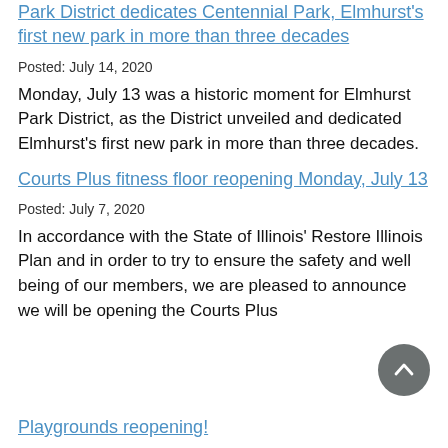Park District dedicates Centennial Park, Elmhurst's first new park in more than three decades
Posted: July 14, 2020
Monday, July 13 was a historic moment for Elmhurst Park District, as the District unveiled and dedicated Elmhurst's first new park in more than three decades.
Courts Plus fitness floor reopening Monday, July 13
Posted: July 7, 2020
In accordance with the State of Illinois' Restore Illinois Plan and in order to try to ensure the safety and well being of our members, we are pleased to announce we will be opening the Courts Plus
Playgrounds reopening!